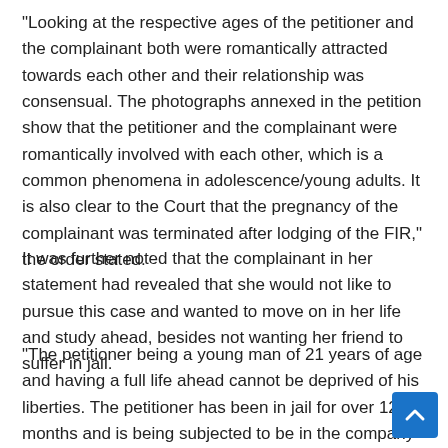"Looking at the respective ages of the petitioner and the complainant both were romantically attracted towards each other and their relationship was consensual. The photographs annexed in the petition show that the petitioner and the complainant were romantically involved with each other, which is a common phenomena in adolescence/young adults. It is also clear to the Court that the pregnancy of the complainant was terminated after lodging of the FIR," the order stated.
It was further noted that the complainant in her statement had revealed that she would not like to pursue this case and wanted to move on in her life and study ahead, besides not wanting her friend to suffer in jail.
"The petitioner being a young man of 21 years of age and having a full life ahead cannot be deprived of his liberties. The petitioner has been in jail for over 12 months and is being subjected to be in the company of hardened criminals. This would do more harm than